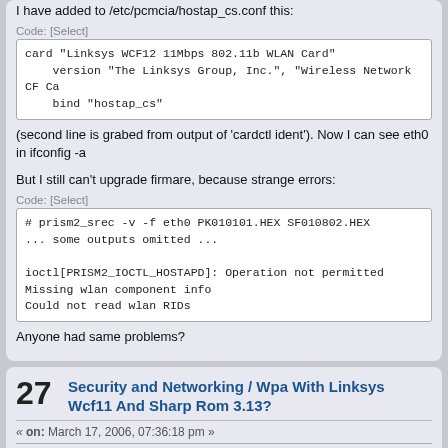I have added to /etc/pcmcia/hostap_cs.conf this:
Code: [Select]
card "Linksys WCF12 11Mbps 802.11b WLAN Card"
    version "The Linksys Group, Inc.", "Wireless Network CF Ca
    bind "hostap_cs"
(second line is grabed from output of 'cardctl ident'). Now I can see eth0 in ifconfig -a
But I still can't upgrade firmare, because strange errors:
Code: [Select]
# prism2_srec -v -f eth0 PK010101.HEX SF010802.HEX
... some outputs omitted ...

ioctl[PRISM2_IOCTL_HOSTAPD]: Operation not permitted
Missing wlan component info
Could not read wlan RIDs
Anyone had same problems?
Security and Networking / Wpa With Linksys Wcf11 And Sharp Rom 3.13?
« on: March 17, 2006, 07:36:18 pm »
I'm trying to connect to wpa AP but having problem to get working copy of hostap drivers. 3.13 Sharp rom running kernel 2.4.18-rmk7-